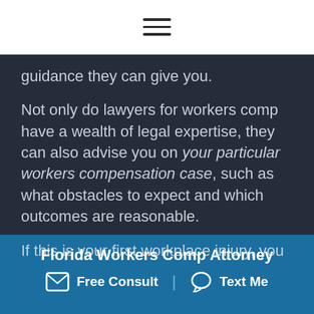guidance they can give you.
Not only do lawyers for workers comp have a wealth of legal expertise, they can also advise you on your particular workers compensation case, such as what obstacles to expect and which outcomes are reasonable.
If this is your first workplace injury, you
Florida Workers Comp Attorney
Free Consult | Text Me